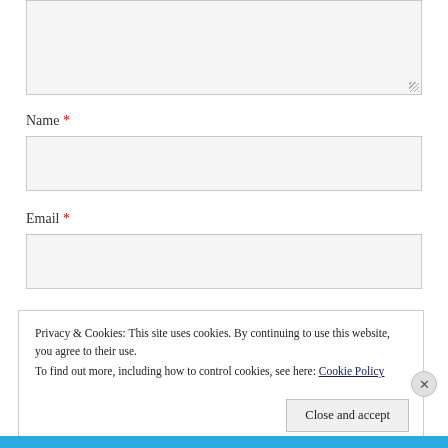[Figure (screenshot): Partially visible textarea input box at top of page with resize handle]
Name *
[Figure (screenshot): Name text input field, empty, light grey background]
Email *
[Figure (screenshot): Email text input field, empty, light grey background]
Privacy & Cookies: This site uses cookies. By continuing to use this website, you agree to their use.
To find out more, including how to control cookies, see here: Cookie Policy
Close and accept